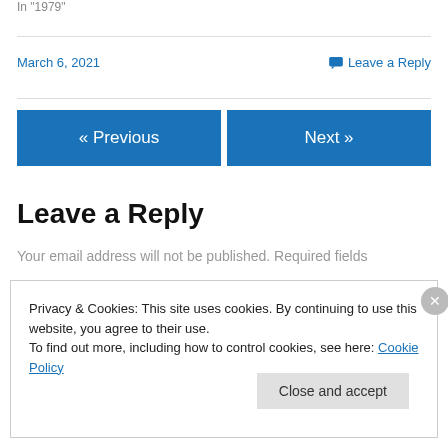In "1979"
March 6, 2021
Leave a Reply
Leave a Reply
Your email address will not be published. Required fields
Privacy & Cookies: This site uses cookies. By continuing to use this website, you agree to their use.
To find out more, including how to control cookies, see here: Cookie Policy
Close and accept